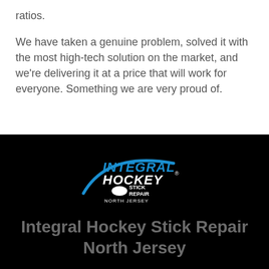ratios.
We have taken a genuine problem, solved it with the most high-tech solution on the market, and we're delivering it at a price that will work for everyone. Something we are very proud of.
[Figure (logo): Integral Hockey Stick Repair North Jersey logo on black background — blue swoosh with 'INTEGRAL HOCKEY' in blue and white text, 'STICK REPAIR' and 'NORTH JERSEY' in smaller white text]
Integral Hockey Stick Repair North Jersey